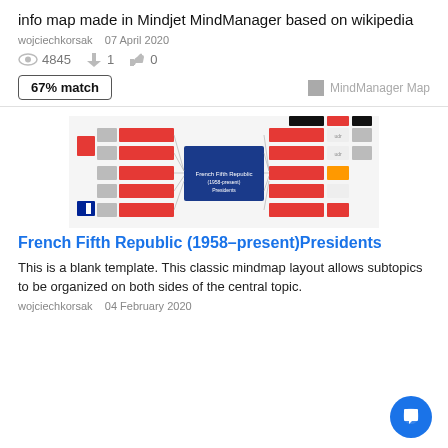info map made in Mindjet MindManager based on wikipedia
wojciechkorsak   07 April 2020
4845   1   0
67% match   MindManager Map
[Figure (screenshot): Thumbnail screenshot of a MindManager mind map showing French Fifth Republic Presidents]
French Fifth Republic (1958–present)Presidents
This is a blank template. This classic mindmap layout allows subtopics to be organized on both sides of the central topic.
wojciechkorsak   04 February 2020